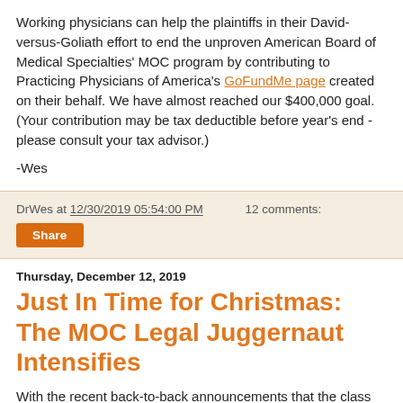Working physicians can help the plaintiffs in their David-versus-Goliath effort to end the unproven American Board of Medical Specialties' MOC program by contributing to Practicing Physicians of America's GoFundMe page created on their behalf. We have almost reached our $400,000 goal. (Your contribution may be tax deductible before year's end - please consult your tax advisor.)
-Wes
DrWes at 12/30/2019 05:54:00 PM   12 comments:
Share
Thursday, December 12, 2019
Just In Time for Christmas: The MOC Legal Juggernaut Intensifies
With the recent back-to-back announcements that the class